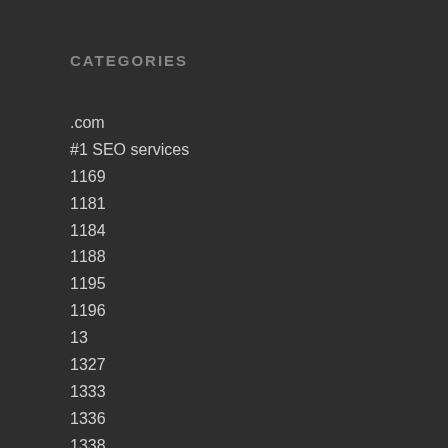CATEGORIES
.com
#1 SEO services
1169
1181
1184
1188
1195
1196
13
1327
1333
1336
1338
1341